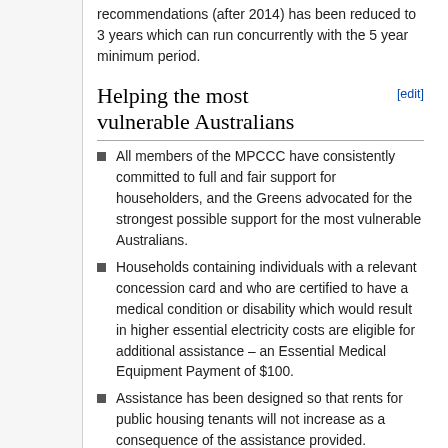recommendations (after 2014) has been reduced to 3 years which can run concurrently with the 5 year minimum period.
Helping the most vulnerable Australians
All members of the MPCCC have consistently committed to full and fair support for householders, and the Greens advocated for the strongest possible support for the most vulnerable Australians.
Households containing individuals with a relevant concession card and who are certified to have a medical condition or disability which would result in higher essential electricity costs are eligible for additional assistance – an Essential Medical Equipment Payment of $100.
Assistance has been designed so that rents for public housing tenants will not increase as a consequence of the assistance provided.